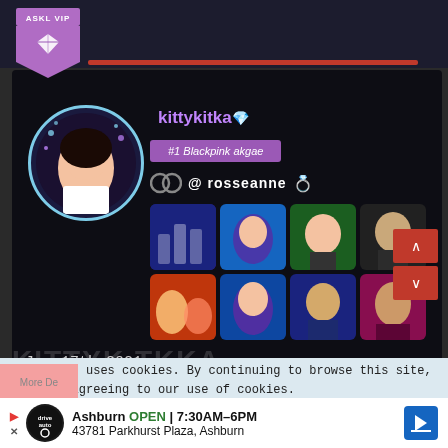[Figure (screenshot): Social media profile page screenshot showing a K-pop fan profile named kittykitka with VIP badge, profile picture of a K-pop idol, subtitle '#1 Blackpink akgae', linked account '@rosseanne', and a grid of 8 K-pop related photos]
ASKL VIP
kittykitka 💎
#1 Blackpink akgae
@ rosseanne 💍
Jan 17th 2021
This site uses cookies. By continuing to browse this site, you are agreeing to our use of cookies.
More De...
Ashburn OPEN 7:30AM–6PM 43781 Parkhurst Plaza, Ashburn